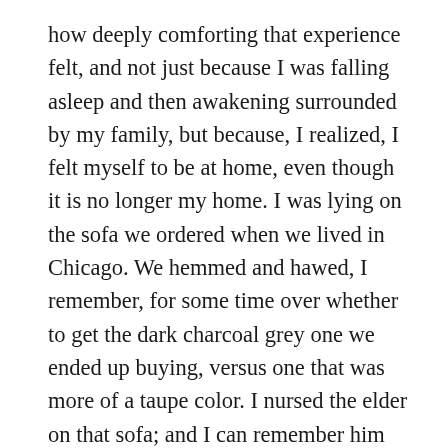how deeply comforting that experience felt, and not just because I was falling asleep and then awakening surrounded by my family, but because, I realized, I felt myself to be at home, even though it is no longer my home. I was lying on the sofa we ordered when we lived in Chicago. We hemmed and hawed, I remember, for some time over whether to get the dark charcoal grey one we ended up buying, versus one that was more of a taupe color. I nursed the elder on that sofa; and I can remember him lying there sleeping on his back, next to SJ when she visited when he was just a week or two old. That